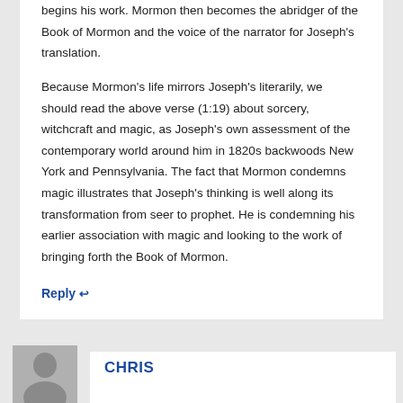begins his work. Mormon then becomes the abridger of the Book of Mormon and the voice of the narrator for Joseph's translation.
Because Mormon's life mirrors Joseph's literarily, we should read the above verse (1:19) about sorcery, witchcraft and magic, as Joseph's own assessment of the contemporary world around him in 1820s backwoods New York and Pennsylvania. The fact that Mormon condemns magic illustrates that Joseph's thinking is well along its transformation from seer to prophet. He is condemning his earlier association with magic and looking to the work of bringing forth the Book of Mormon.
Reply ↩
[Figure (illustration): Grey avatar placeholder image showing a generic person silhouette]
CHRIS